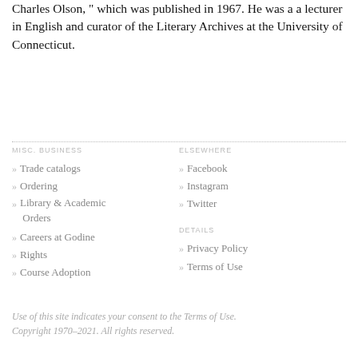Charles Olson, which was published in 1967. He was a a lecturer in English and curator of the Literary Archives at the University of Connecticut.
» Trade catalogs
» Ordering
» Library & Academic Orders
» Careers at Godine
» Rights
» Course Adoption
» Facebook
» Instagram
» Twitter
» Privacy Policy
» Terms of Use
Use of this site indicates your consent to the Terms of Use. Copyright 1970–2021. All rights reserved.